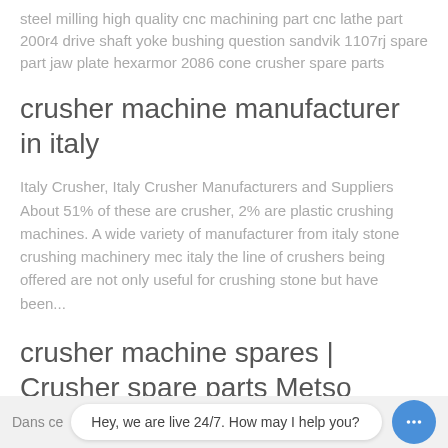steel milling high quality cnc machining part cnc lathe part 200r4 drive shaft yoke bushing question sandvik 1107rj spare part jaw plate hexarmor 2086 cone crusher spare parts
crusher machine manufacturer in italy
Italy Crusher, Italy Crusher Manufacturers and Suppliers About 51% of these are crusher, 2% are plastic crushing machines. A wide variety of manufacturer from italy stone crushing machinery mec italy the line of crushers being offered are not only useful for crushing stone but have been...
crusher machine spares | Crusher spare parts Metso Outotec
OEM Factory Export Stone Crusher Machine Spare Parts
Dans ce
Hey, we are live 24/7. How may I help you?